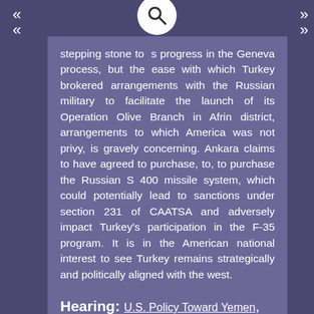stepping stone to s progress in the Geneva process, but the ease with which Turkey brokered arrangements with the Russian military to facilitate the launch of its Operation Olive Branch in Afrin district, arrangements to which America was not privy, is gravely concerning. Ankara claims to have agreed to purchase, to, to purchase the Russian S 400 missile system, which could potentially lead to sanctions under section 231 of CAATSA and adversely impact Turkey's participation in the F-35 program. It is in the American national interest to see Turkey remains strategically and politically aligned with the west.
Hearing: U.S. Policy Toward Yemen, Senate Foreign Relations Committee, C-SPAN, April 17, 2018.